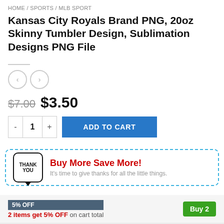HOME / SPORTS / MLB SPORT
Kansas City Royals Brand PNG, 20oz Skinny Tumbler Design, Sublimation Designs PNG File
$7.00  $3.50
[Figure (infographic): Dashed blue border box with a 'Thank You' speech bubble icon, bold red headline 'Buy More Save More!' and gray subtext 'It's time to give thanks for all the little things.']
5% OFF
2 items get 5% OFF on cart total
10% OFF